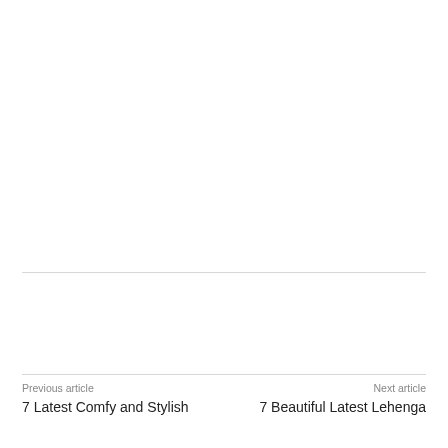Previous article
7 Latest Comfy and Stylish
Next article
7 Beautiful Latest Lehenga